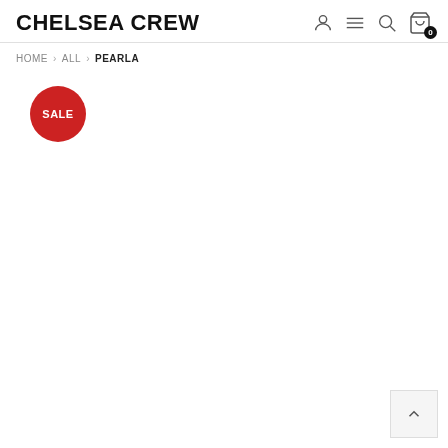CHELSEA CREW
HOME > ALL > PEARLA
[Figure (other): Red circular SALE badge]
[Figure (other): Back to top arrow button in bottom right corner]